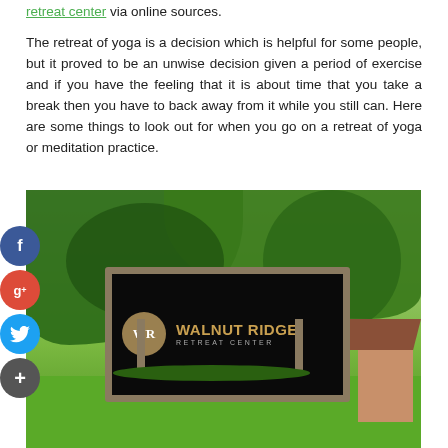retreat center via online sources. The retreat of yoga is a decision which is helpful for some people, but it proved to be an unwise decision given a period of exercise and if you have the feeling that it is about time that you take a break then you have to back away from it while you still can. Here are some things to look out for when you go on a retreat of yoga or meditation practice.
[Figure (photo): Outdoor photo of Walnut Ridge Retreat Center sign — a wooden-framed black sign with the WR logo in a tan circle and the text 'WALNUT RIDGE RETREAT CENTER', surrounded by green trees and lawn. Social media icons (Facebook, Google+, Twitter, plus) overlaid on the left side.]